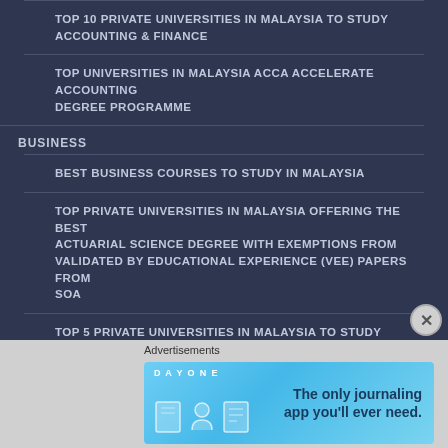TOP 10 PRIVATE UNIVERSITIES IN MALAYSIA TO STUDY ACCOUNTING & FINANCE
TOP UNIVERSITIES IN MALAYSIA ACCA ACCELERATE ACCOUNTING DEGREE PROGRAMME
BUSINESS
BEST BUSINESS COURSES TO STUDY IN MALAYSIA
TOP PRIVATE UNIVERSITIES IN MALAYSIA OFFERING THE BEST ACTUARIAL SCIENCE DEGREE WITH EXEMPTIONS FROM VALIDATED BY EDUCATIONAL EXPERIENCE (VEE) PAPERS FROM SOA
TOP 5 PRIVATE UNIVERSITIES IN MALAYSIA TO STUDY ECONOMICS
BEST BUSINESS COURSES AT TOP PRIVATE UNIVERSITIES IN
[Figure (screenshot): Advertisement banner for DayOne journaling app with light blue background, app icons on left, text reading 'The only journaling app you’ll ever need.']